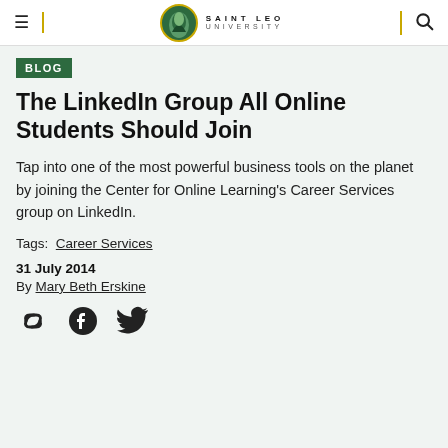Saint Leo University — Blog
BLOG
The LinkedIn Group All Online Students Should Join
Tap into one of the most powerful business tools on the planet by joining the Center for Online Learning's Career Services group on LinkedIn.
Tags: Career Services
31 July 2014
By Mary Beth Erskine
[Figure (other): Social share icons: link/chain icon, Facebook icon, Twitter bird icon]